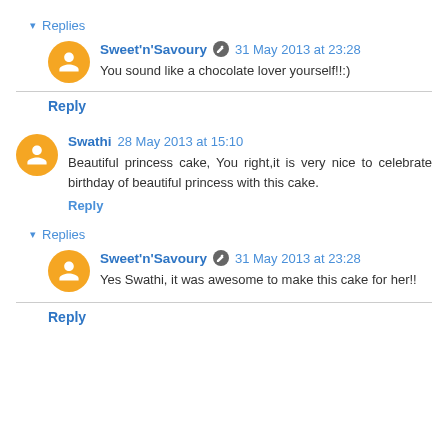▾ Replies
Sweet'n'Savoury 31 May 2013 at 23:28
You sound like a chocolate lover yourself!!:)
Reply
Swathi 28 May 2013 at 15:10
Beautiful princess cake, You right,it is very nice to celebrate birthday of beautiful princess with this cake.
Reply
▾ Replies
Sweet'n'Savoury 31 May 2013 at 23:28
Yes Swathi, it was awesome to make this cake for her!!
Reply